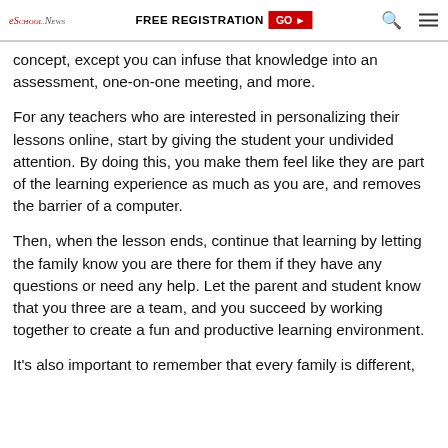eSchool News | FREE REGISTRATION GO ► 🔍 ☰
concept, except you can infuse that knowledge into an assessment, one-on-one meeting, and more.
For any teachers who are interested in personalizing their lessons online, start by giving the student your undivided attention. By doing this, you make them feel like they are part of the learning experience as much as you are, and removes the barrier of a computer.
Then, when the lesson ends, continue that learning by letting the family know you are there for them if they have any questions or need any help. Let the parent and student know that you three are a team, and you succeed by working together to create a fun and productive learning environment.
It's also important to remember that every family is different,